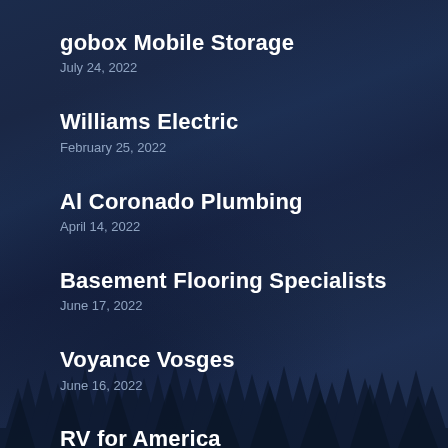gobox Mobile Storage
July 24, 2022
Williams Electric
February 25, 2022
Al Coronado Plumbing
April 14, 2022
Basement Flooring Specialists
June 17, 2022
Voyance Vosges
June 16, 2022
RV for America